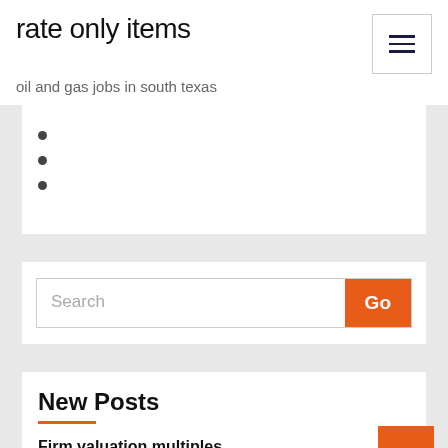rate only items
oil and gas jobs in south texas
Search
New Posts
Firm valuation multiples